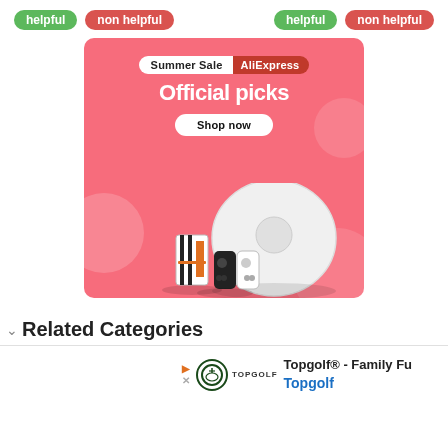[Figure (other): UI feedback buttons: two pairs of 'helpful' (green) and 'non helpful' (red) buttons on a white background]
[Figure (illustration): AliExpress Summer Sale advertisement banner with pink background, 'Summer Sale AliExpress' badge, 'Official picks' headline, 'Shop now' button, and product images including a robot vacuum cleaner, gaming console, and game controllers]
Related Categories
[Figure (other): Topgolf advertisement: shows Topgolf logo, 'Topgolf® - Family Fu...' headline, and 'Topgolf' brand name in blue]